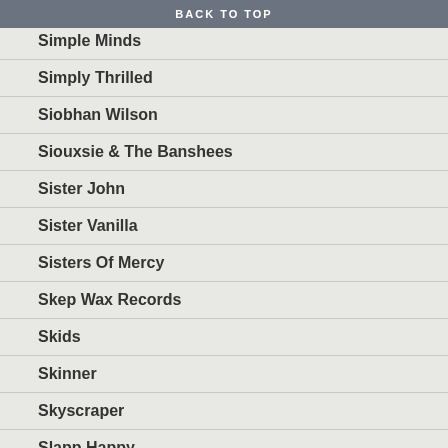BACK TO TOP
Simple Minds
Simply Thrilled
Siobhan Wilson
Siouxsie & The Banshees
Sister John
Sister Vanilla
Sisters Of Mercy
Skep Wax Records
Skids
Skinner
Skyscraper
Slapp Happy
Slid